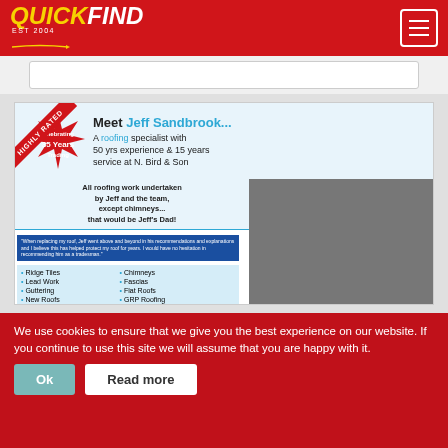[Figure (logo): QuickFind EST 2004 logo in yellow and white on red background]
[Figure (screenshot): N. Bird & Son Roofing Services advertisement with Jeff Sandbrook, celebrating 35 years trading, services list, photo of roofer, phone numbers 0800 195 6946 and 0121 695 9033]
We use cookies to ensure that we give you the best experience on our website. If you continue to use this site we will assume that you are happy with it.
Ok
Read more